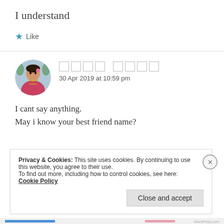I understand
★ Like
[Figure (photo): Circular avatar of a woman in traditional Indian attire (red/pink dress, jewelry)]
30 Apr 2019 at 10:59 pm
I cant say anything.
May i know your best friend name?
Privacy & Cookies: This site uses cookies. By continuing to use this website, you agree to their use.
To find out more, including how to control cookies, see here: Cookie Policy
Close and accept